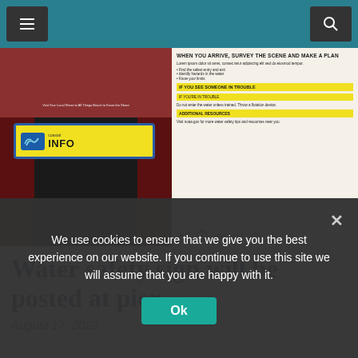Navigation header with menu and search buttons
[Figure (photo): Person in red shirt holding a yellow water safety information sign with a coastal logo, next to a larger water safety information board with sections titled 'When You Arrive, Survey The Scene And Make A Plan', 'If You See Someone In Trouble', 'If You're In Trouble', and 'Additional Resources', with Ocean Today logo at bottom.]
Water safety sign will be posted at pier
August 17, 2022
We use cookies to ensure that we give you the best experience on our website. If you continue to use this site we will assume that you are happy with it.